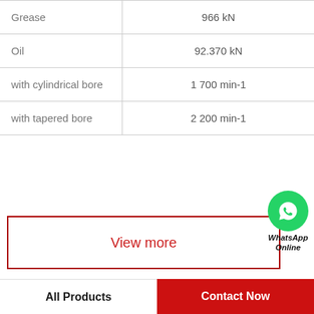|  |  |
| --- | --- |
| Grease | 966 kN |
| Oil | 92.370 kN |
| with cylindrical bore | 1 700 min-1 |
| with tapered bore | 2 200 min-1 |
[Figure (logo): WhatsApp green circle icon with phone handset, labeled WhatsApp Online]
View more
Company Profile
GARLOCK BEARINGS LTD
Phone  +1-329-699-8645
All Products   Contact Now